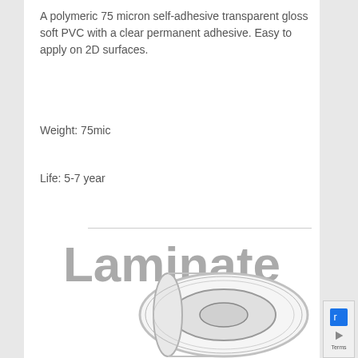A polymeric 75 micron self-adhesive transparent gloss soft PVC with a clear permanent adhesive. Easy to apply on 2D surfaces.
Weight: 75mic
Life: 5-7 year
Laminate
[Figure (photo): A roll of transparent laminate film, white roll viewed from the side at an angle, showing the cylindrical core and layered film edge.]